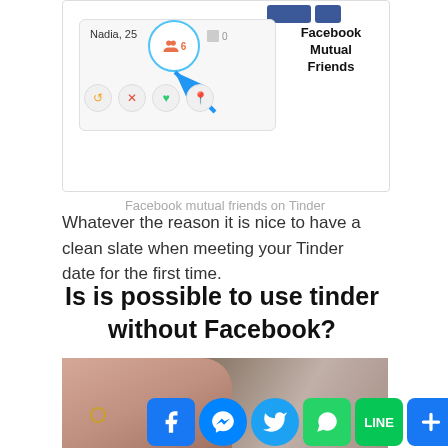[Figure (screenshot): Tinder app screenshot showing profile card for Nadia, 25 with Facebook mutual friends icon circled in blue with a blue arrow pointing to it, and action buttons (undo, X, heart, pin). Text 'Facebook Mutual Friends' appears to the right.]
Facebook mutual friends on Tinder
Whatever the reason it is nice to have a clean slate when meeting your Tinder date for the first time.
Is is possible to use tinder without Facebook?
[Figure (photo): Close-up photo of two hands holding each other, person wearing a ring, blurred background]